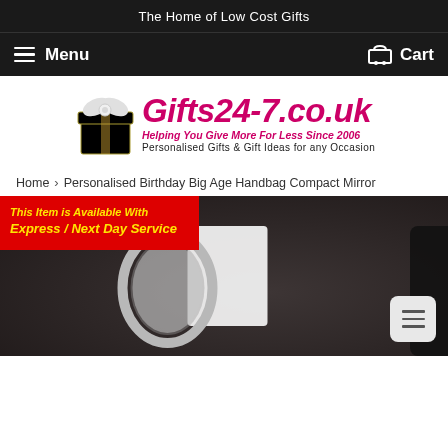The Home of Low Cost Gifts
Menu
Cart
[Figure (logo): Gifts24-7.co.uk logo with gift box icon, tagline 'Helping You Give More For Less Since 2006' and 'Personalised Gifts & Gift Ideas for any Occasion']
Home › Personalised Birthday Big Age Handbag Compact Mirror
[Figure (photo): Product photo of a compact mirror on a dark background with a red badge reading 'This Item is Available With Express / Next Day Service']